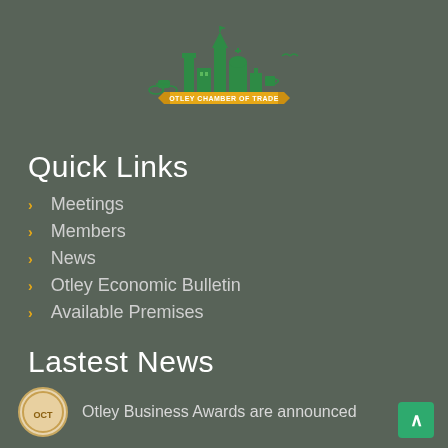[Figure (logo): Otley Chamber of Trade logo — green illustrated skyline of Otley buildings with yellow/orange banner reading OTLEY CHAMBER OF TRADE]
Quick Links
Meetings
Members
News
Otley Economic Bulletin
Available Premises
Lastest News
Otley Business Awards are announced